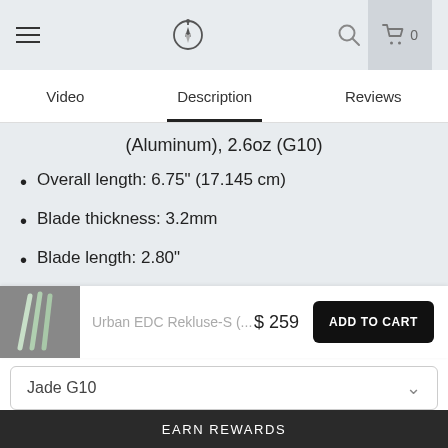Urban EDC Supply – navigation header with hamburger menu, compass logo, search and cart icons
Video | Description | Reviews
(Aluminum), 2.6oz (G10)
Overall length: 6.75" (17.145 cm)
Blade thickness: 3.2mm
Blade length: 2.80"
Designed in the USA and made in China
Urban EDC Rekluse-S (... $259 ADD TO CART
Jade G10
EARN REWARDS